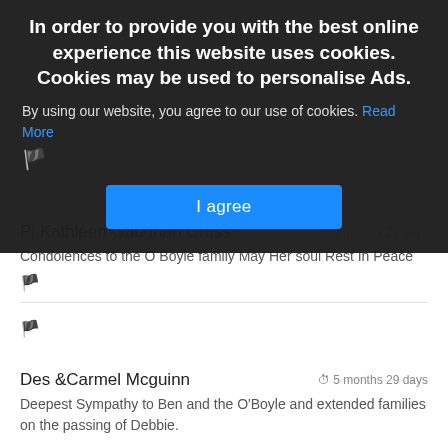Kieran and Teresa O'Sullivan — 5 months 19 days
In order to provide you with the best online experience this website uses cookies. Cookies may be used to personalise Ads.
By using our website, you agree to our use of cookies. Read More
I agree
Pj Kathleen Gaughan Cross — 5 months 29 days
Condolences to the O Boyle family May Her soul Rest In Peace
Des &Carmel Mcguinn — 5 months 29 days
Deepest Sympathy to Ben and the O'Boyle and extended families on the passing of Debbie.

May Deb's gentle soul rest in peace.

Thinking of you at this sad time.